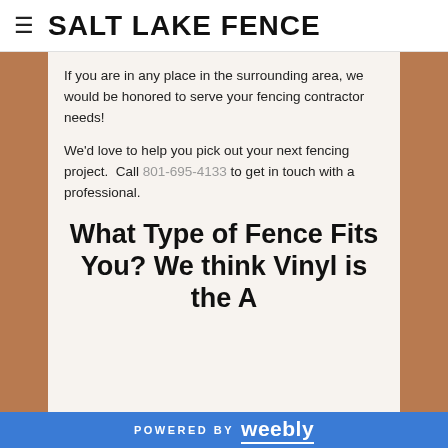≡ SALT LAKE FENCE
If you are in any place in the surrounding area, we would be honored to serve your fencing contractor needs!
We'd love to help you pick out your next fencing project.  Call 801-695-4133 to get in touch with a professional.
What Type of Fence Fits You? We think Vinyl is the A...
POWERED BY weebly